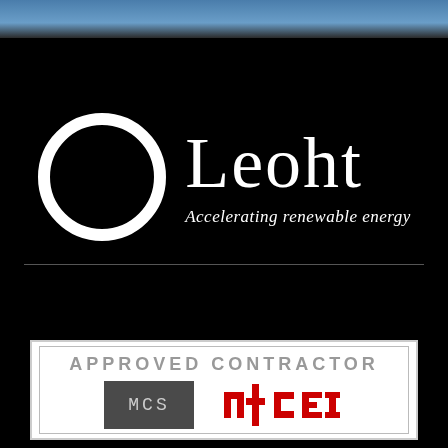[Figure (photo): Blue sky background photo strip at top of page]
[Figure (logo): Leoht company logo: white circle outline on black background alongside the text 'Leoht' and tagline 'Accelerating renewable energy']
[Figure (logo): Approved Contractor certification badge showing MCS and NICEIC logos side by side in a bordered white box]